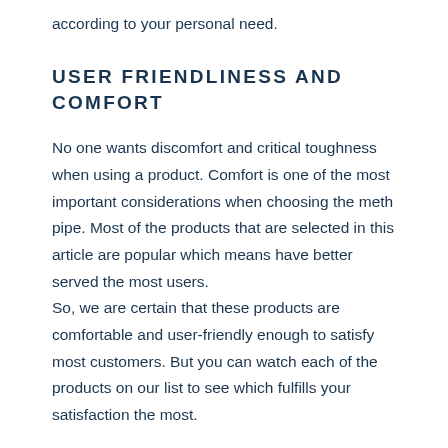according to your personal need.
USER FRIENDLINESS AND COMFORT
No one wants discomfort and critical toughness when using a product. Comfort is one of the most important considerations when choosing the meth pipe. Most of the products that are selected in this article are popular which means have better served the most users.
So, we are certain that these products are comfortable and user-friendly enough to satisfy most customers. But you can watch each of the products on our list to see which fulfills your satisfaction the most.